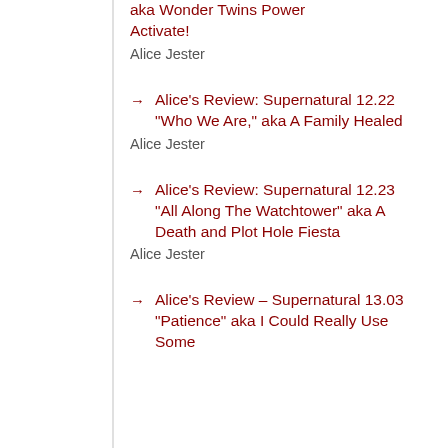aka Wonder Twins Power Activate!
Alice Jester
Alice's Review: Supernatural 12.22 "Who We Are," aka A Family Healed
Alice Jester
Alice's Review: Supernatural 12.23 "All Along The Watchtower" aka A Death and Plot Hole Fiesta
Alice Jester
Alice's Review - Supernatural 13.03 "Patience" aka I Could Really Use Some